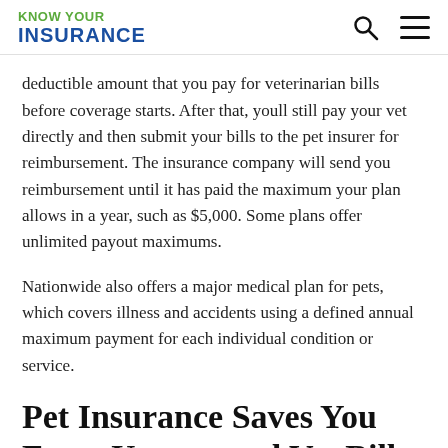KNOW YOUR INSURANCE
deductible amount that you pay for veterinarian bills before coverage starts. After that, youll still pay your vet directly and then submit your bills to the pet insurer for reimbursement. The insurance company will send you reimbursement until it has paid the maximum your plan allows in a year, such as $5,000. Some plans offer unlimited payout maximums.
Nationwide also offers a major medical plan for pets, which covers illness and accidents using a defined annual maximum payment for each individual condition or service.
Pet Insurance Saves You From Unexpected Vet Bills